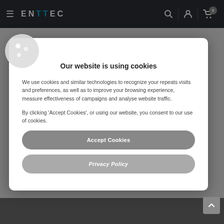ENTTEC
Our website is using cookies
We use cookies and similar technologies to recognize your repeats visits and preferences, as well as to improve your browsing experience, measure effectiveness of campaigns and analyse website traffic.
By clicking 'Accept Cookies', or using our website, you consent to our use of cookies.
Accept Cookies
Privacy Policy